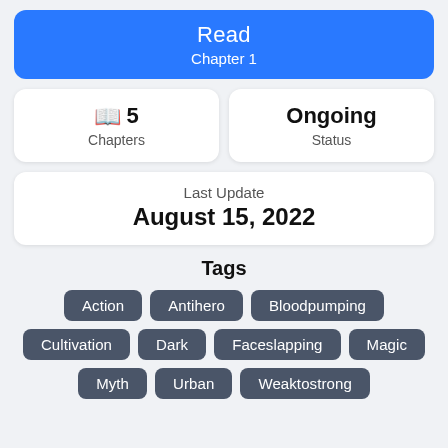Read
Chapter 1
5 Chapters
Ongoing
Status
Last Update
August 15, 2022
Tags
Action
Antihero
Bloodpumping
Cultivation
Dark
Faceslapping
Magic
Myth
Urban
Weaktostrong